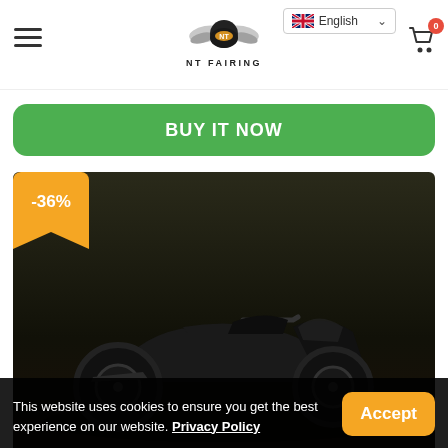[Figure (screenshot): Website header with hamburger menu on left, NT Fairing logo with winged helmet in center, English language selector with UK flag on top right, and shopping cart icon with 0 badge on far right]
[Figure (other): Green 'BUY IT NOW' rounded rectangle button]
[Figure (photo): Dark product photo of a motorcycle fairing/bike, with a yellow -36% discount badge in the upper left corner]
This website uses cookies to ensure you get the best experience on our website. Privacy Policy
[Figure (other): Yellow 'Accept' button for cookie consent]